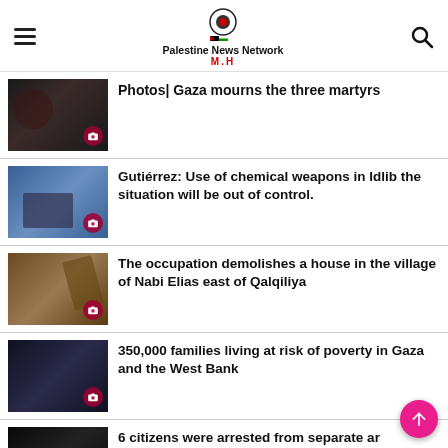Palestine News Network M.H
[Figure (photo): People in dark clothing, mourning scene]
Photos| Gaza mourns the three martyrs
[Figure (photo): Man in suit at press conference, UN backdrop]
Gutiérrez: Use of chemical weapons in Idlib the situation will be out of control.
[Figure (photo): Demolition machinery and rubble]
The occupation demolishes a house in the village of Nabi Elias east of Qalqiliya
[Figure (photo): Night scene with people]
350,000 families living at risk of poverty in Gaza and the West Bank
[Figure (photo): Night arrest scene]
6 citizens were arrested from separate areas in the West Bank